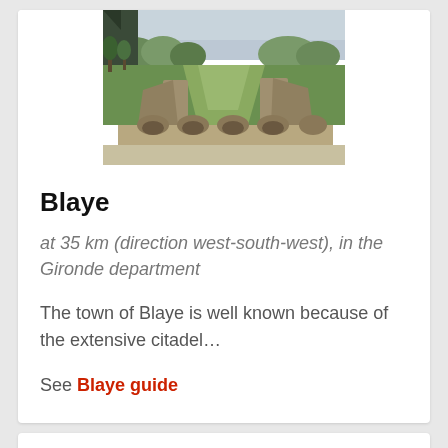[Figure (photo): Aerial/ground-level view of the Blaye citadel with grassy ramparts, stone walls, arched viaduct, and trees in background]
Blaye
at 35 km (direction west-south-west), in the Gironde department
The town of Blaye is well known because of the extensive citadel…
See Blaye guide